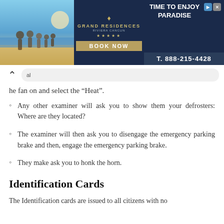[Figure (other): Grand Residences Riviera Cancun advertisement banner with beach family photo, logo, TIME TO ENJOY PARADISE tagline, BOOK NOW button, and phone number T. 888-215-4428]
he fan on and select the “Heat”.
Any other examiner will ask you to show them your defrosters: Where are they located?
The examiner will then ask you to disengage the emergency parking brake and then, engage the emergency parking brake.
They make ask you to honk the horn.
Identification Cards
The Identification cards are issued to all citizens with no